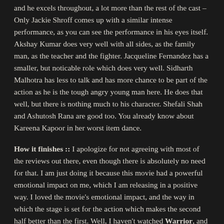and he excels throughout, a lot more than the rest of the cast – Only Jackie Shroff comes up with a similar intense performance, as you can see the performance in his eyes itself. Akshay Kumar does very well with all sides, as the family man, as the teacher and the fighter. Jacqueline Fernandez has a smaller, but noticable role which does very well. Sidharth Malhotra has less to talk and has more chance to be part of the action as he is the tough angry young man here. He does that well, but there is nothing much to his character. Shefali Shah and Ashutosh Rana are good too. You already know about Kareena Kapoor in her worst item dance.
How it finishes :: I apologize for not agreeing with most of the reviews out there, even though there is absolutely no need for that. I am just doing it because this movie had a powerful emotional impact on me, which I am releasing in a positive way. I loved the movie's emotional impact, and the way in which the stage is set for the action which makes the second half better than the first. Well, I haven't watched Warrior, and so that